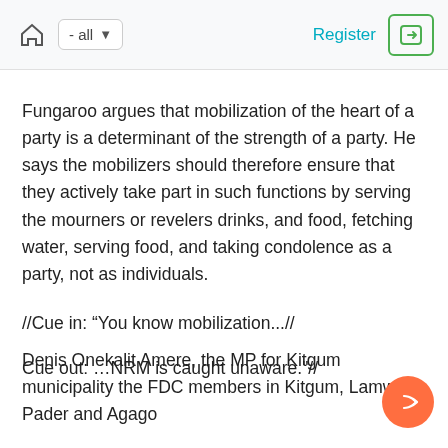home - all   Register [login]
Fungaroo argues that mobilization of the heart of a party is a determinant of the strength of a party. He says the mobilizers should therefore ensure that they actively take part in such functions by serving the mourners or revelers drinks, and food, fetching water, serving food, and taking condolence as a party, not as individuals.
//Cue in: “You know mobilization...//
Cue out: ...NRM is caught unaware."//
Denis Onekalit Amere, the MP for Kitgum municipality the FDC members in Kitgum, Lamwo, Pader and Agago